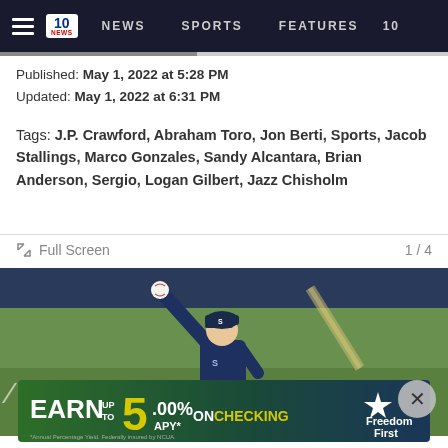NEWS  SPORTS  FEATURES  10
Published: May 1, 2022 at 5:28 PM
Updated: May 1, 2022 at 6:31 PM
Tags: J.P. Crawford, Abraham Toro, Jon Berti, Sports, Jacob Stallings, Marco Gonzales, Sandy Alcantara, Brian Anderson, Sergio, Logan Gilbert, Jazz Chisholm
Full Screen  1 / 4
[Figure (photo): Baseball pitcher in Seattle Mariners uniform winding up to throw a pitch on the field]
[Figure (infographic): Advertisement banner: EARN UP TO 5.00% APY* ON CHECKING - Freedom First. Annual Percentage Yield. Federally insured by NCUA.]